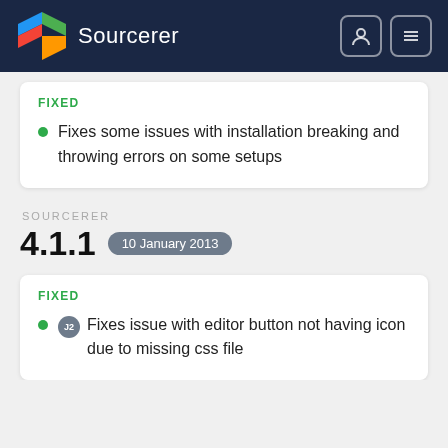Sourcerer
FIXED
Fixes some issues with installation breaking and throwing errors on some setups
SOURCERER
4.1.1  10 January 2013
FIXED
J2  Fixes issue with editor button not having icon due to missing css file